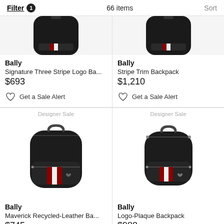Filter 1   66 items   Sort
[Figure (photo): Black Bally backpack partially visible at top, cropped]
Bally
Signature Three Stripe Logo Ba...
$693
Get a Sale Alert
[Figure (photo): Black Bally backpack partially visible at top, cropped]
Bally
Stripe Trim Backpack
$1,210
Get a Sale Alert
Designer Sale
[Figure (photo): Black Bally Maverick Recycled-Leather backpack with red and white stripe detail]
Bally
Maverick Recycled-Leather Ba...
$745
Designer Sale
[Figure (photo): Black Bally Logo-Plaque Backpack with red and white stripe detail]
Bally
Logo-Plaque Backpack
$980